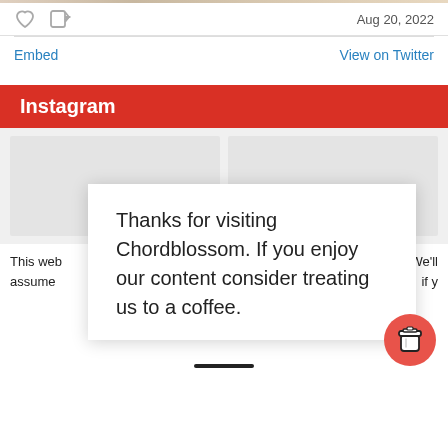Aug 20, 2022
Embed   View on Twitter
Instagram
[Figure (screenshot): Two gray placeholder Instagram preview image boxes side by side]
This web assume
ience We'll if y
Thanks for visiting Chordblossom. If you enjoy our content consider treating us to a coffee.
[Figure (illustration): Red circular coffee cup button]